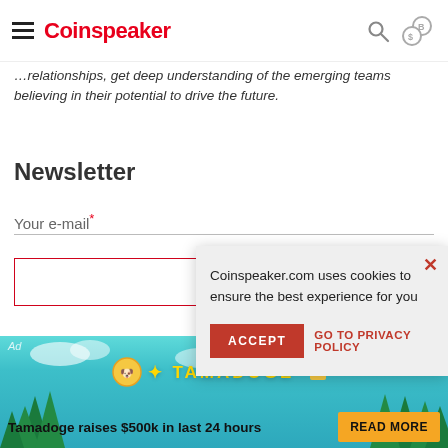Coinspeaker
...relationships, get deep understanding of the emerging teams believing in their potential to drive the future.
Newsletter
Your e-mail *
[Figure (screenshot): Cookie consent popup: 'Coinspeaker.com uses cookies to ensure the best experience for you' with ACCEPT button and GO TO PRIVACY POLICY link]
Subscr...
[Figure (infographic): Tamadoge advertisement banner: 'Tamadoge raises $500k in last 24 hours' with READ MORE button]
Discover Why